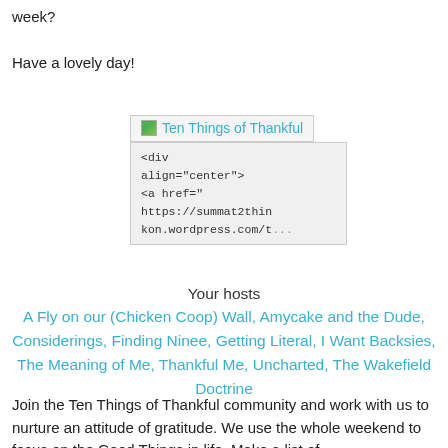week?
Have a lovely day!
[Figure (screenshot): A broken image placeholder link labeled 'Ten Things of Thankful' with a code snippet box below showing HTML: <div align="center"> <a href="https://summat2thin kon.wordpress.com/t..."]
Your hosts
A Fly on our (Chicken Coop) Wall, Amycake and the Dude, Considerings, Finding Ninee, Getting Literal, I Want Backsies, The Meaning of Me, Thankful Me, Uncharted, The Wakefield Doctrine
Join the Ten Things of Thankful community and work with us to nurture an attitude of gratitude. We use the whole weekend to focus on the Good Things in life. Make a list of